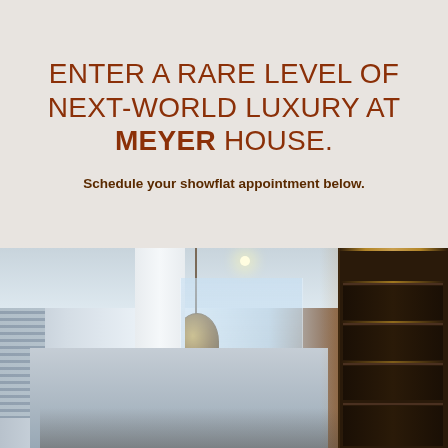ENTER A RARE LEVEL OF NEXT-WORLD LUXURY AT MEYER HOUSE.
Schedule your showflat appointment below.
[Figure (photo): Interior of a luxury apartment corridor showing pendant lighting, glass doors, floor-to-ceiling windows with blinds on the left, and illuminated dark wood bookshelves on the right.]